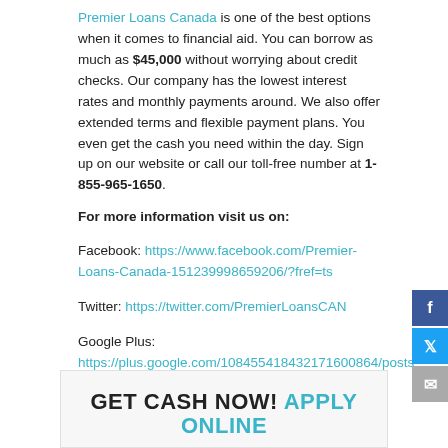Premier Loans Canada is one of the best options when it comes to financial aid. You can borrow as much as $45,000 without worrying about credit checks. Our company has the lowest interest rates and monthly payments around. We also offer extended terms and flexible payment plans. You even get the cash you need within the day. Sign up on our website or call our toll-free number at 1-855-965-1650.
For more information visit us on:
Facebook: https://www.facebook.com/Premier-Loans-Canada-151239998659206/?fref=ts
Twitter: https://twitter.com/PremierLoansCAN
Google Plus: https://plus.google.com/108455418432171600864/posts
GET CASH NOW! APPLY ONLINE